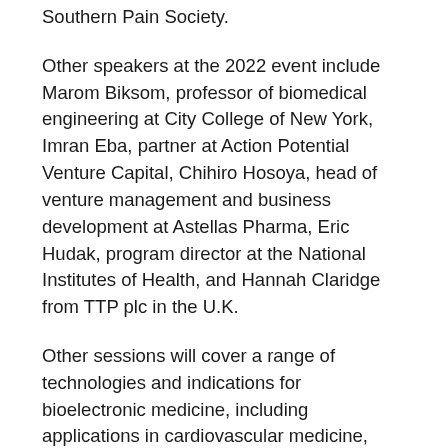Southern Pain Society.
Other speakers at the 2022 event include Marom Biksom, professor of biomedical engineering at City College of New York, Imran Eba, partner at Action Potential Venture Capital, Chihiro Hosoya, head of venture management and business development at Astellas Pharma, Eric Hudak, program director at the National Institutes of Health, and Hannah Claridge from TTP plc in the U.K.
Other sessions will cover a range of technologies and indications for bioelectronic medicine, including applications in cardiovascular medicine, inflammation, gastrointestinal disorders, and many other clinical specialties.
MST is the Platinum Sponsor of this year’s event, while Valtronic is the Silver Sponsor.
Key topics will include promising new indications, alliances with bio/pharm firms, regulatory and reimbursement issues, and pricing/commercialization